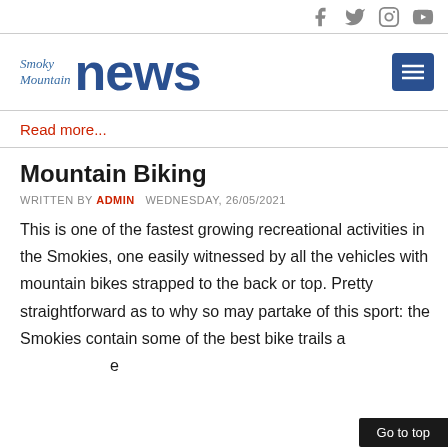Smoky Mountain news — social icons (Facebook, Twitter, Instagram, YouTube)
[Figure (logo): Smoky Mountain News logo with menu button]
Read more...
Mountain Biking
WRITTEN BY ADMIN   WEDNESDAY, 26/05/2021
This is one of the fastest growing recreational activities in the Smokies, one easily witnessed by all the vehicles with mountain bikes strapped to the back or top. Pretty straightforward as to why so may partake of this sport: the Smokies contain some of the best bike trails a...e